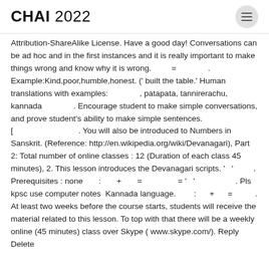CHAI 2022
Attribution-ShareAlike License. Have a good day! Conversations can be ad hoc and in the first instances and it is really important to make things wrong and know why it is wrong.         =              . Example:Kind,poor,humble,honest. (' built the table.' Human translations with examples:              , patapata, tannirerachu, kannada              . Encourage students to make simple conversations, and prove student's ability to make simple sentences. [                             . You will also be introduced to Numbers in Sanskrit. (Reference: http://en.wikipedia.org/wiki/Devanagari), Part 2: Total number of online classes : 12 (Duration of each class 45 minutes), 2. This lesson introduces the Devanagari scripts. '   '         . Prerequisites : none       :       +       =              = '   '                  . Pls kpsc use computer notes  Kannada language.       :       +       =          . At least two weeks before the course starts, students will receive the material related to this lesson. To top with that there will be a weekly online (45 minutes) class over Skype ( www.skyne.com/). Reply Delete